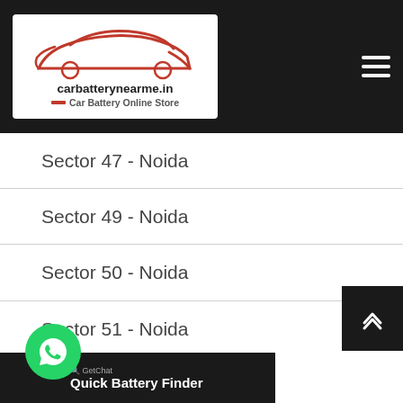carbatterynearme.in — Car Battery Online Store
Sector 47 - Noida
Sector 49 - Noida
Sector 50 - Noida
Sector 51 - Noida
Sector 53 - Noida
Sector 55 - Noida
Quick Battery Finder